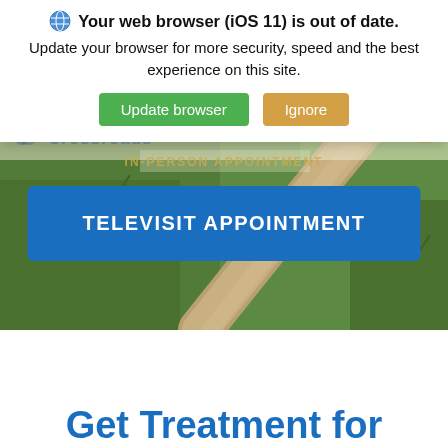[Figure (screenshot): A screenshot of a website with a browser update warning overlay. Behind the overlay is a hero image of a grassy field with a winding dirt path. A blue 'TELEVISIT APPOINTMENT' button is visible in the middle of the hero image. Below the hero image is a white section with the beginning of a heading 'Get Treatment for' in blue text.]
Your web browser (iOS 11) is out of date. Update your browser for more security, speed and the best experience on this site.
Update browser   Ignore
TELEVISIT APPOINTMENT
Get Treatment for